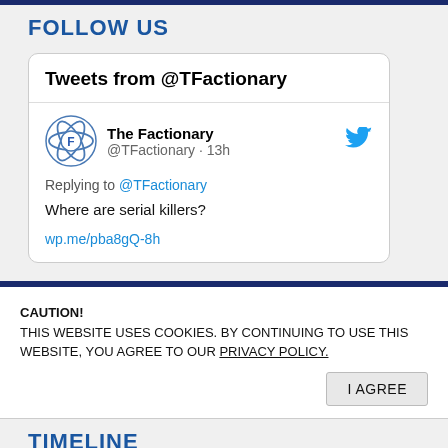FOLLOW US
[Figure (screenshot): Tweet card from @TFactionary showing tweet by The Factionary, 13h ago, replying to @TFactionary: 'Where are serial killers?' with link wp.me/pba8gQ-8h]
CAUTION!
THIS WEBSITE USES COOKIES. BY CONTINUING TO USE THIS WEBSITE, YOU AGREE TO OUR PRIVACY POLICY.
I AGREE
TIMELINE